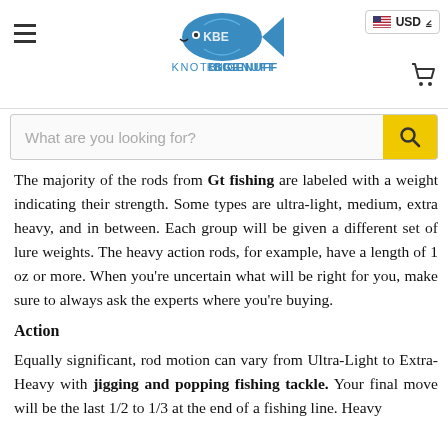[Figure (logo): KnotBigEnuff logo with a blue fish and KBE text, with KNOTBIGENUFF brand name below]
USD  [hamburger menu] [cart icon]
What are you looking for?
The majority of the rods from Gt fishing are labeled with a weight indicating their strength. Some types are ultra-light, medium, extra heavy, and in between. Each group will be given a different set of lure weights. The heavy action rods, for example, have a length of 1 oz or more. When you're uncertain what will be right for you, make sure to always ask the experts where you're buying.
Action
Equally significant, rod motion can vary from Ultra-Light to Extra-Heavy with jigging and popping fishing tackle. Your final move will be the last 1/2 to 1/3 at the end of a fishing line. Heavy